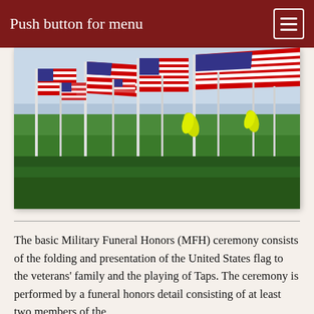Push button for menu
[Figure (photo): Field of American flags planted in green grass, multiple rows of red, white and blue US flags on white poles, with yellow ribbons tied to some poles, against a hazy sky background.]
The basic Military Funeral Honors (MFH) ceremony consists of the folding and presentation of the United States flag to the veterans' family and the playing of Taps. The ceremony is performed by a funeral honors detail consisting of at least two members of the